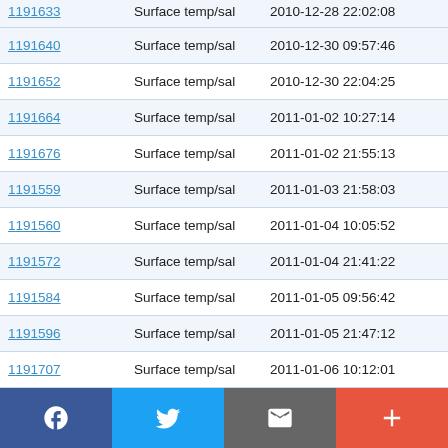| ID | Type | Datetime | Value |
| --- | --- | --- | --- |
| 1191633 | Surface temp/sal | 2010-12-28 22:02:08 | 53.331 ... |
| 1191640 | Surface temp/sal | 2010-12-30 09:57:46 | 53.329 ... |
| 1191652 | Surface temp/sal | 2010-12-30 22:04:25 | 53.336 ... |
| 1191664 | Surface temp/sal | 2011-01-02 10:27:14 | 53.328 ... |
| 1191676 | Surface temp/sal | 2011-01-02 21:55:13 | 53.337 ... |
| 1191559 | Surface temp/sal | 2011-01-03 21:58:03 | 53.328 ... |
| 1191560 | Surface temp/sal | 2011-01-04 10:05:52 | 53.338 ... |
| 1191572 | Surface temp/sal | 2011-01-04 21:41:22 | 53.33 N |
| 1191584 | Surface temp/sal | 2011-01-05 09:56:42 | 53.337 ... |
| 1191596 | Surface temp/sal | 2011-01-05 21:47:12 | 53.33 N |
| 1191707 | Surface temp/sal | 2011-01-06 10:12:01 | 53.337 ... |